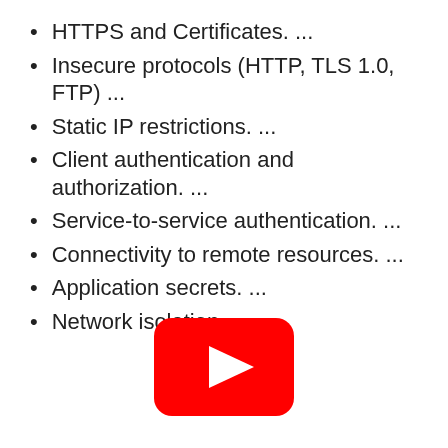HTTPS and Certificates. ...
Insecure protocols (HTTP, TLS 1.0, FTP) ...
Static IP restrictions. ...
Client authentication and authorization. ...
Service-to-service authentication. ...
Connectivity to remote resources. ...
Application secrets. ...
Network isolation.
[Figure (logo): YouTube play button logo in red with white triangle pointing right]